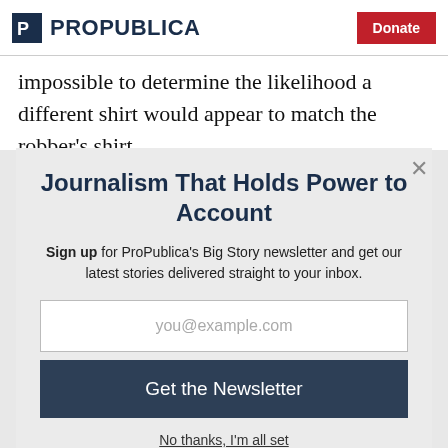ProPublica | Donate
impossible to determine the likelihood a different shirt would appear to match the robber’s shirt.
Journalism That Holds Power to Account
Sign up for ProPublica’s Big Story newsletter and get our latest stories delivered straight to your inbox.
you@example.com
Get the Newsletter
No thanks, I’m all set
This site is protected by reCAPTCHA and the Google Privacy Policy and Terms of Service apply.